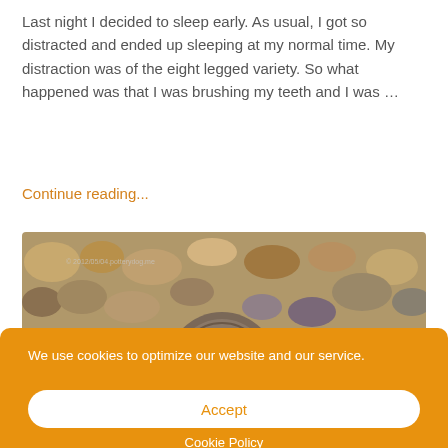Last night I decided to sleep early. As usual, I got so distracted and ended up sleeping at my normal time. My distraction was of the eight legged variety. So what happened was that I was brushing my teeth and I was …
Continue reading...
[Figure (photo): Close-up photo of a snail shell among pebbles and rocks, with a watermark in the top-left corner reading '© 2012/05/04.potterydog.me']
We use cookies to optimize our website and our service.
Accept
Cookie Policy